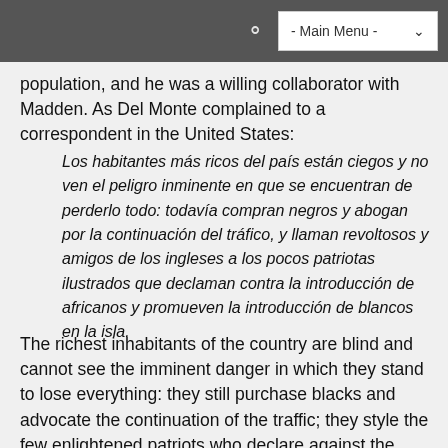- Main Menu -
population, and he was a willing collaborator with Madden. As Del Monte complained to a correspondent in the United States:
Los habitantes más ricos del país están ciegos y no ven el peligro inminente en que se encuentran de perderlo todo: todavía compran negros y abogan por la continuación del tráfico, y llaman revoltosos y amigos de los ingleses a los pocos patriotas ilustrados que declaman contra la introducción de africanos y promueven la introducción de blancos en la isla.
The richest inhabitants of the country are blind and cannot see the imminent danger in which they stand to lose everything: they still purchase blacks and advocate the continuation of the traffic; they style the few enlightened patriots who declare against the introduction of Africans and promote the immigration of whites to the island as rabble